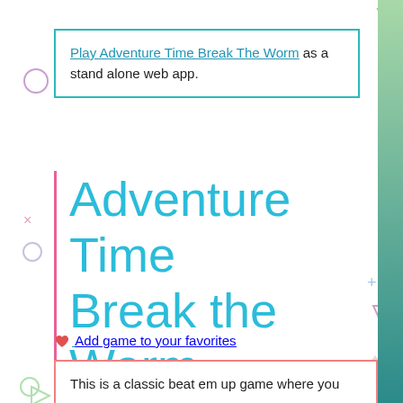Play Adventure Time Break The Worm as a stand alone web app.
Adventure Time Break the Worm Beat-Em-Up Game
❤ Add game to your favorites
This is a classic beat em up game where you